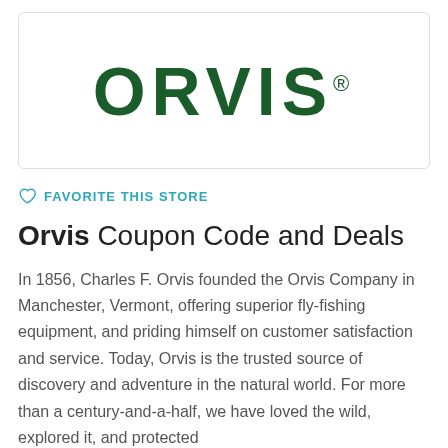[Figure (logo): Orvis brand logo — large dark green bold uppercase ORVIS text with registered trademark symbol]
FAVORITE THIS STORE
Orvis Coupon Code and Deals
In 1856, Charles F. Orvis founded the Orvis Company in Manchester, Vermont, offering superior fly-fishing equipment, and priding himself on customer satisfaction and service. Today, Orvis is the trusted source of discovery and adventure in the natural world. For more than a century-and-a-half, we have loved the wild, explored it, and protected